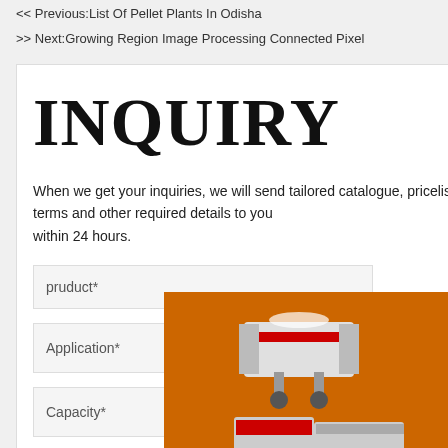<< Previous:List Of Pellet Plants In Odisha
>> Next:Growing Region Image Processing Connected Pixel
INQUIRY
When we get your inquiries, we will send tailored catalogue, pricelist, delivery, payment terms and other required details to you within 24 hours.
pruduct*
Application*
Capacity*
[Figure (infographic): Orange advertisement banner showing industrial machinery (crusher, conveyor, ball mill), text 'Enjoy 3%', 'Click t...', a blue circle, Enquiry button, and email mumumugoods@gmail.com]